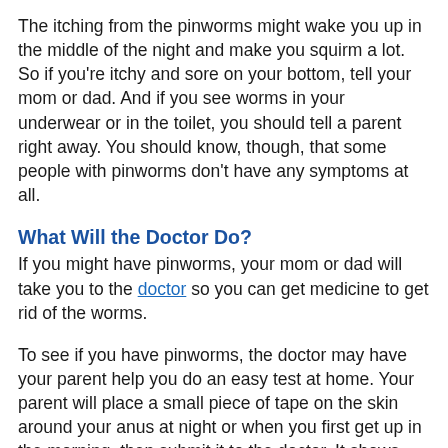The itching from the pinworms might wake you up in the middle of the night and make you squirm a lot. So if you're itchy and sore on your bottom, tell your mom or dad. And if you see worms in your underwear or in the toilet, you should tell a parent right away. You should know, though, that some people with pinworms don't have any symptoms at all.
What Will the Doctor Do?
If you might have pinworms, your mom or dad will take you to the doctor so you can get medicine to get rid of the worms.
To see if you have pinworms, the doctor may have your parent help you do an easy test at home. Your parent will place a small piece of tape on the skin around your anus at night or when you first get up in the morning, then submit it to the doctor. It shows directly.